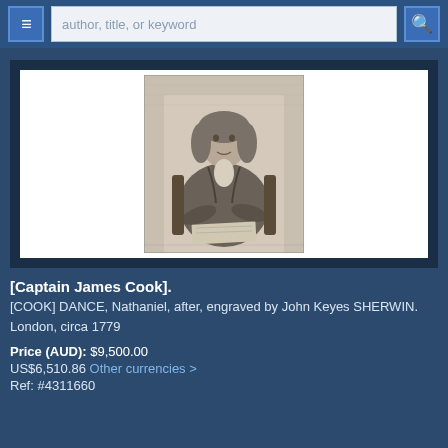author, title, or keyword
[Figure (illustration): Engraved portrait of Captain James Cook, seated, holding papers, in period clothing. Black and white engraving.]
[Captain James Cook].
[COOK] DANCE, Nathaniel, after, engraved by John Keyes SHERWIN. London, circa 1779
Price (AUD): $9,500.00
US$6,510.86 Other currencies >
Ref: #4311660